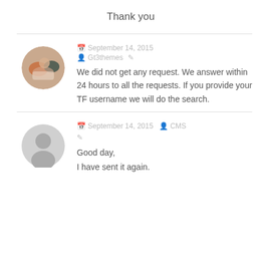Thank you
September 14, 2015  Gt3themes
We did not get any request. We answer within 24 hours to all the requests. If you provide your TF username we will do the search.
September 14, 2015  CMS
Good day,
I have sent it again.